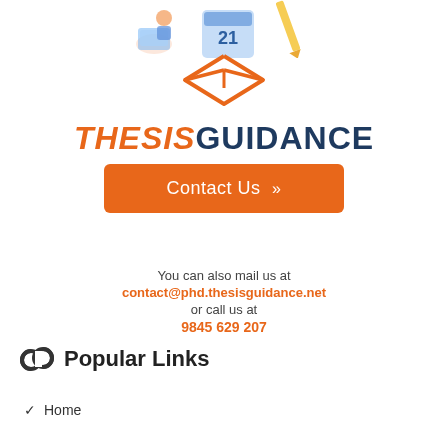[Figure (illustration): Partial view of an isometric illustration showing a student at a laptop, a calendar with '21', and a pencil — top portion of a decorative header image.]
[Figure (logo): ThesisGuidance logo: an orange mortarboard/diamond cap icon above the text 'THESIS' in orange italic and 'GUIDANCE' in dark navy bold.]
Contact Us »
You can also mail us at
contact@phd.thesisguidance.net
or call us at
9845 629 207
Popular Links
Home